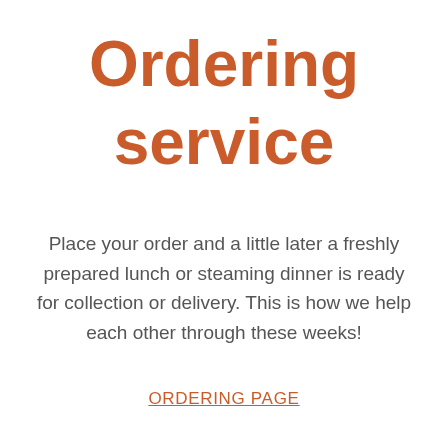Ordering service
Place your order and a little later a freshly prepared lunch or steaming dinner is ready for collection or delivery. This is how we help each other through these weeks!
ORDERING PAGE
RESERVATIONS